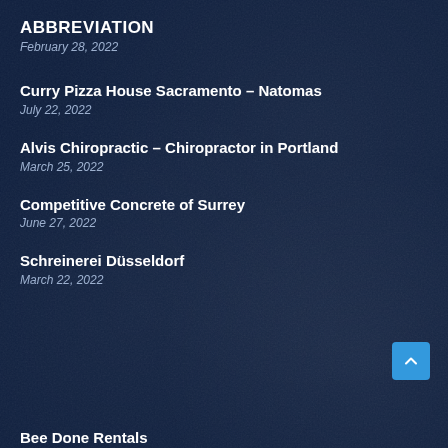ABBREVIATION
February 28, 2022
Curry Pizza House Sacramento – Natomas
July 22, 2022
Alvis Chiropractic – Chiropractor in Portland
March 25, 2022
Competitive Concrete of Surrey
June 27, 2022
Schreinerei Düsseldorf
March 22, 2022
Bee Done Rentals